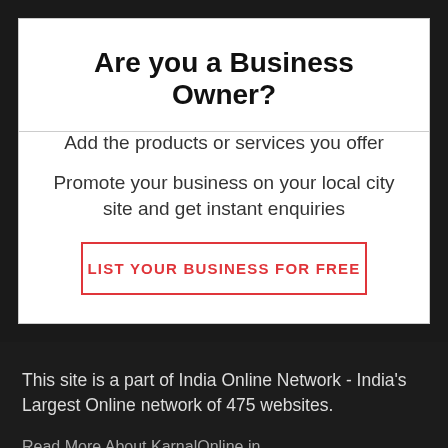Are you a Business Owner?
Add the products or services you offer
Promote your business on your local city site and get instant enquiries
LIST YOUR BUSINESS FOR FREE
This site is a part of India Online Network - India's Largest Online network of 475 websites.
Read More About KarnalOnline.in
Haryana Online Network